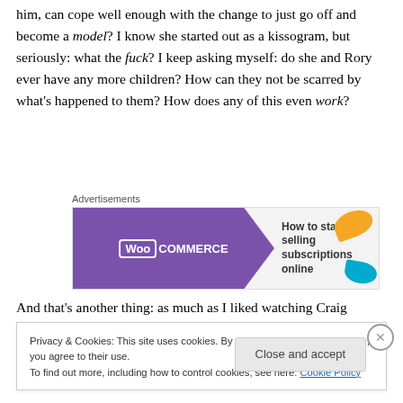him, can cope well enough with the change to just go off and become a model? I know she started out as a kissogram, but seriously: what the fuck? I keep asking myself: do she and Rory ever have any more children? How can they not be scarred by what's happened to them? How does any of this even work?
[Figure (screenshot): WooCommerce advertisement banner: purple banner on left with WooCommerce logo, text 'How to start selling subscriptions online' on right, with orange and blue decorative shapes]
And that's another thing: as much as I liked watching Craig
Privacy & Cookies: This site uses cookies. By continuing to use this website, you agree to their use.
To find out more, including how to control cookies, see here: Cookie Policy
[Close and accept button]